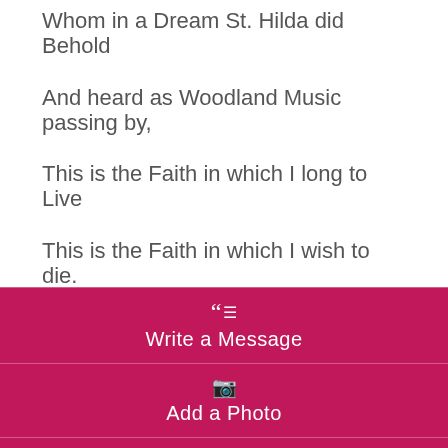Whom in a Dream St. Hilda did Behold
And heard as Woodland Music passing by,
This is the Faith in which I long to Live
This is the Faith in which I wish to die.
Hilaire Belloc
Write a Message
Add a Photo